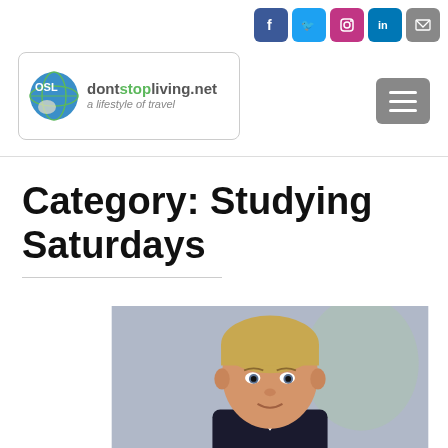dontstopliving.net – a lifestyle of travel
Category: Studying Saturdays
[Figure (photo): School portrait photo of a young boy with blonde bowl-cut hair, wearing a dark jacket, against a bluish-grey background]